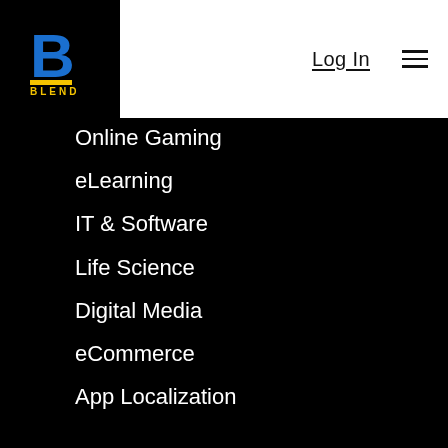[Figure (logo): Blend logo: blue B with yellow underline and word BLEND below]
Log In ≡
Online Gaming
eLearning
IT & Software
Life Science
Digital Media
eCommerce
App Localization
Resources
Partners & Integrations